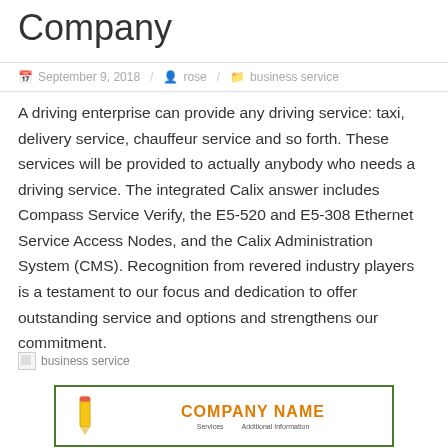Company
September 9, 2018 / rose / business service
A driving enterprise can provide any driving service: taxi, delivery service, chauffeur service and so forth. These services will be provided to actually anybody who needs a driving service. The integrated Calix answer includes Compass Service Verify, the E5-520 and E5-308 Ethernet Service Access Nodes, and the Calix Administration System (CMS). Recognition from revered industry players is a testament to our focus and dedication to offer outstanding service and options and strengthens our commitment.
[Figure (logo): Business service logo placeholder image with broken image icon and alt text 'business service']
[Figure (logo): Company logo box with green border, pencil icon on left, 'COMPANY NAME' in orange text in center, 'Services' and 'Additional Information' subtitle text below]